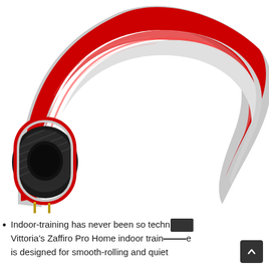[Figure (illustration): Cross-section illustration of a Vittoria Zaffiro Pro Home indoor training bicycle tire showing red outer tread, gray sidewall/rim strip, black inner layers with textile weave pattern, and two brass valve stems protruding from the left end. The tire curves upward from left to right showing the internal construction layers.]
Indoor-training has never been so techno... Vittoria's Zaffiro Pro Home indoor trainer tire is designed for smooth-rolling and quiet